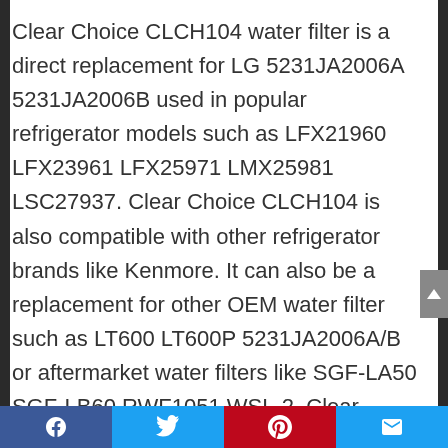Clear Choice CLCH104 water filter is a direct replacement for LG 5231JA2006A 5231JA2006B used in popular refrigerator models such as LFX21960 LFX23961 LFX25971 LMX25981 LSC27937. Clear Choice CLCH104 is also compatible with other refrigerator brands like Kenmore. It can also be a replacement for other OEM water filter such as LT600 LT600P 5231JA2006A/B or aftermarket water filters like SGF-LA50 SGF-LB60 RWF1051 WSL-2. Clear Choice CLCH104 is tested and certifed by IAPMO against NSF/ANSI 42 standard to reduce chlorine, taste, odor and particulates producing clean, clear, healthy, better
Facebook | Twitter | Pinterest | Email